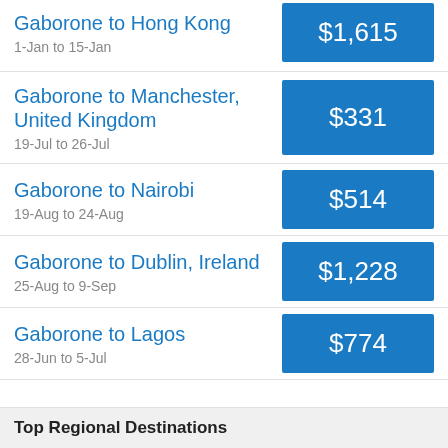Gaborone to Hong Kong
1-Jan to 15-Jan
$1,615
Gaborone to Manchester, United Kingdom
19-Jul to 26-Jul
$331
Gaborone to Nairobi
19-Aug to 24-Aug
$514
Gaborone to Dublin, Ireland
25-Aug to 9-Sep
$1,228
Gaborone to Lagos
28-Jun to 5-Jul
$774
Top Regional Destinations